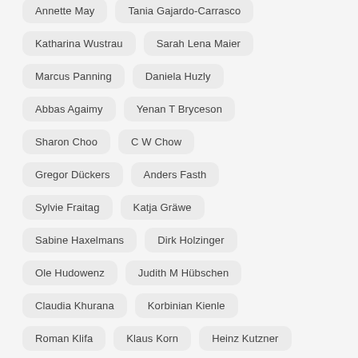Annette May
Tania Gajardo-Carrasco
Katharina Wustrau
Sarah Lena Maier
Marcus Panning
Daniela Huzly
Abbas Agaimy
Yenan T Bryceson
Sharon Choo
C W Chow
Gregor Dückers
Anders Fasth
Sylvie Fraitag
Katja Gräwe
Sabine Haxelmans
Dirk Holzinger
Ole Hudowenz
Judith M Hübschen
Claudia Khurana
Korbinian Kienle
Roman Klifa
Klaus Korn
Heinz Kutzner